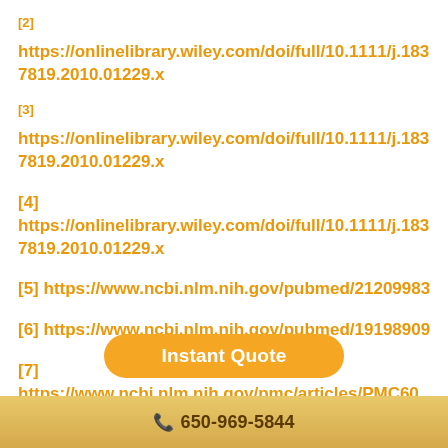[2] https://onlinelibrary.wiley.com/doi/full/10.1111/j.1837819.2010.01229.x
[3] https://onlinelibrary.wiley.com/doi/full/10.1111/j.1837819.2010.01229.x
[4] https://onlinelibrary.wiley.com/doi/full/10.1111/j.1837819.2010.01229.x
[5] https://www.ncbi.nlm.nih.gov/pubmed/21209983
[6] https://www.ncbi.nlm.nih.gov/pubmed/19198909
[7] https://www.ncbi.nlm.nih.gov/pmc/articles/PMC60
Instant Quote
📞650-969-5844